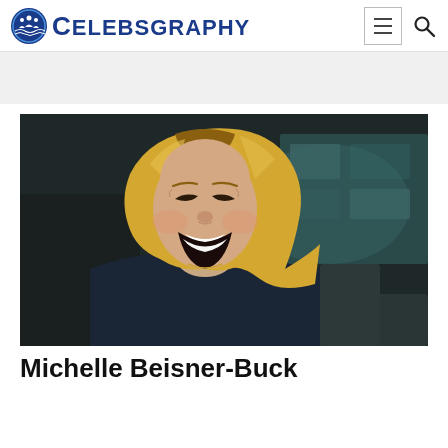CELEBSGRAPHY
[Figure (photo): Blonde woman laughing, wearing a dark blazer, seated in an indoor setting with blurred background furniture]
Michelle Beisner-Buck